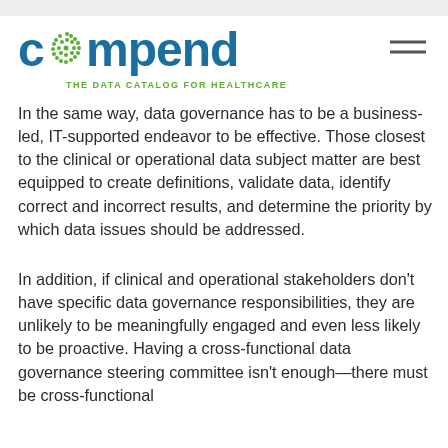compendium — THE DATA CATALOG FOR HEALTHCARE
In the same way, data governance has to be a business-led, IT-supported endeavor to be effective. Those closest to the clinical or operational data subject matter are best equipped to create definitions, validate data, identify correct and incorrect results, and determine the priority by which data issues should be addressed.
In addition, if clinical and operational stakeholders don't have specific data governance responsibilities, they are unlikely to be meaningfully engaged and even less likely to be proactive. Having a cross-functional data governance steering committee isn't enough—there must be cross-functional